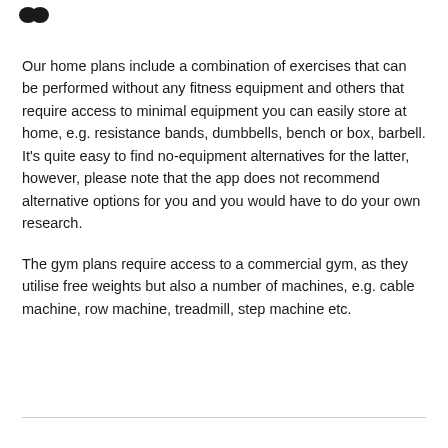Our home plans include a combination of exercises that can be performed without any fitness equipment and others that require access to minimal equipment you can easily store at home, e.g. resistance bands, dumbbells, bench or box, barbell. It's quite easy to find no-equipment alternatives for the latter, however, please note that the app does not recommend alternative options for you and you would have to do your own research.
The gym plans require access to a commercial gym, as they utilise free weights but also a number of machines, e.g. cable machine, row machine, treadmill, step machine etc.